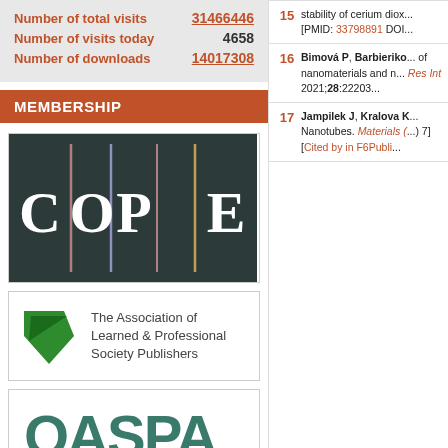Number of total visits  31466446
Number of visits today  4658
Number of downloads  14017308
MEMBERSHIP
[Figure (logo): COPE (Committee on Publication Ethics) logo - white letters C O P E on dark background with colored vertical lines]
[Figure (logo): The Association of Learned & Professional Society Publishers (ALPSP) logo with green shield/arrow shape]
[Figure (logo): OASPA logo in teal/green color]
15 - stability of cerium diox... [PMID: 33798891 DOI...
16 - Bimová P, Barbieriko... of nanomaterials and n... Res Int 2021;28:22203...
17 - Jampilek J, Kralova K... Nanotubes. Materials (...) 7] [Cited by in F6Publi...